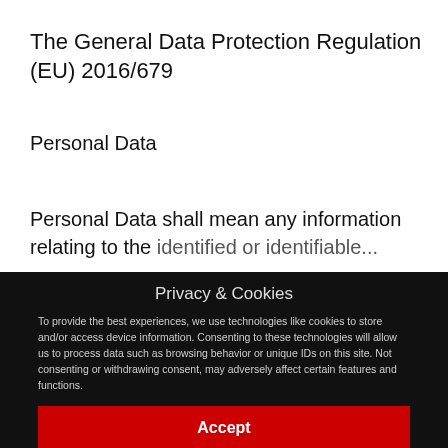The General Data Protection Regulation (EU) 2016/679
Personal Data
Personal Data shall mean any information relating to the identified or identifiable...
Privacy & Cookies
To provide the best experiences, we use technologies like cookies to store and/or access device information. Consenting to these technologies will allow us to process data such as browsing behavior or unique IDs on this site. Not consenting or withdrawing consent, may adversely affect certain features and functions.
Accept
Deny
Cookie Policy   Privacy Policy